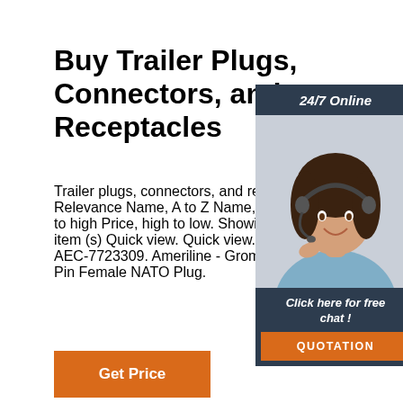Buy Trailer Plugs, Connectors, and Receptacles
Trailer plugs, connectors, and receptacles... Relevance Name, A to Z Name, Z to A Price to high Price, high to low. Showing 1-84 of item (s) Quick view. Quick view. Price. $12... AEC-7723309. Ameriline - Grommet Nut f... Pin Female NATO Plug.
[Figure (photo): Customer service representative woman with headset, smiling, in a 24/7 online chat widget sidebar with dark blue background, 'Click here for free chat!' text, and an orange QUOTATION button.]
Get Price